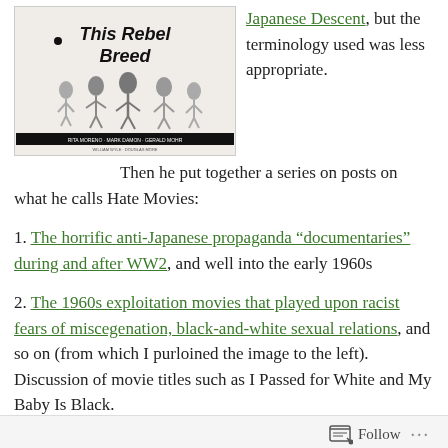[Figure (photo): Black and white movie poster for 'This Rebel Breed' showing cartoon figures and cast names at bottom]
Japanese Descent, but the terminology used was less appropriate.
Then he put together a series on posts on what he calls Hate Movies:
1. The horrific anti-Japanese propaganda “documentaries” during and after WW2, and well into the early 1960s
2. The 1960s exploitation movies that played upon racist fears of miscegenation, black-and-white sexual relations, and so on (from which I purloined the image to the left). Discussion of movie titles such as I Passed for White and My Baby Is Black.
3. How to Deal with Racial Conflict Head-On & Fail at the
Follow